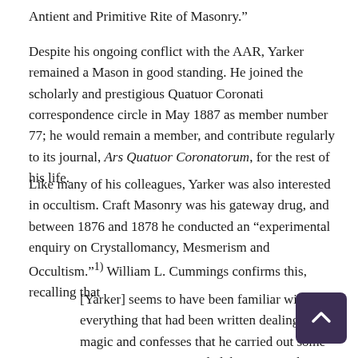Antient and Primitive Rite of Masonry.”
Despite his ongoing conflict with the AAR, Yarker remained a Mason in good standing. He joined the scholarly and prestigious Quatuor Coronati correspondence circle in May 1887 as member number 77; he would remain a member, and contribute regularly to its journal, Ars Quatuor Coronatorum, for the rest of his life.
Like many of his colleagues, Yarker was also interested in occultism. Craft Masonry was his gateway drug, and between 1876 and 1878 he conducted an “experimental enquiry on Crystallomancy, Mesmerism and Occultism.”¹⧠ William L. Cummings confirms this, recalling that
[Yarker] seems to have been familiar with everything that had been written dealing with magic and confesses that he carried out some experiments in practical alchemy w… obtaining any definite results. Apparently he took everything of an occult or mystical nature for his province